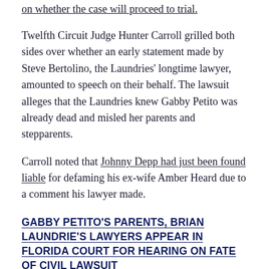on whether the case will proceed to trial.
Twelfth Circuit Judge Hunter Carroll grilled both sides over whether an early statement made by Steve Bertolino, the Laundries' longtime lawyer, amounted to speech on their behalf. The lawsuit alleges that the Laundries knew Gabby Petito was already dead and misled her parents and stepparents.
Carroll noted that Johnny Depp had just been found liable for defaming his ex-wife Amber Heard due to a comment his lawyer made.
GABBY PETITO'S PARENTS, BRIAN LAUNDRIE'S LAWYERS APPEAR IN FLORIDA COURT FOR HEARING ON FATE OF CIVIL LAWSUIT
"The Laundries are civilly liable for Bertolino's